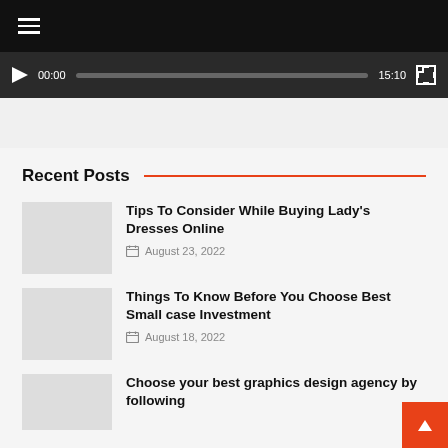[Figure (screenshot): Black navigation header bar with hamburger menu icon (three white lines)]
[Figure (screenshot): Dark media player bar with play button, time 00:00, progress track, duration 15:10, and fullscreen button]
Recent Posts
[Figure (photo): Thumbnail image placeholder (grey box) for first post]
Tips To Consider While Buying Lady's Dresses Online
August 23, 2022
[Figure (photo): Thumbnail image placeholder (grey box) for second post]
Things To Know Before You Choose Best Small case Investment
August 18, 2022
[Figure (photo): Thumbnail image placeholder (grey box) for third post]
Choose your best graphics design agency by following